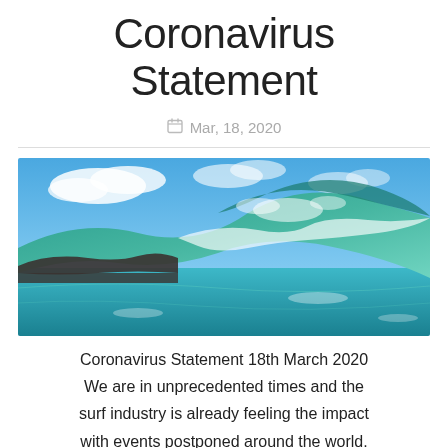Coronavirus Statement
Mar, 18, 2020
[Figure (photo): Large ocean wave curling with blue sky and clouds in background, rocky shoreline visible]
Coronavirus Statement 18th March 2020 We are in unprecedented times and the surf industry is already feeling the impact with events postponed around the world. Our schools, clubs and coaches will undoubtably be impacted as well, the